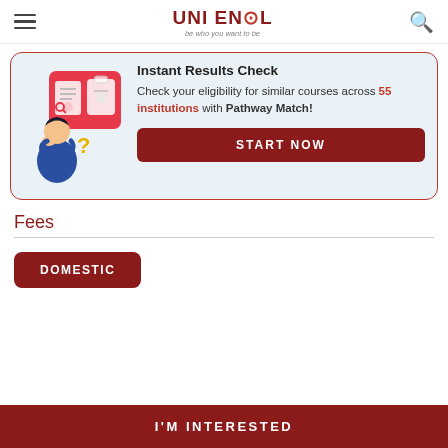UNI ENROL — be who you want to be
[Figure (illustration): Person thinking with question mark, overlaid with document/checklist icons on a red background card]
Instant Results Check
Check your eligibility for similar courses across 55 institutions with Pathway Match!
START NOW
Fees
DOMESTIC
I'M INTERESTED